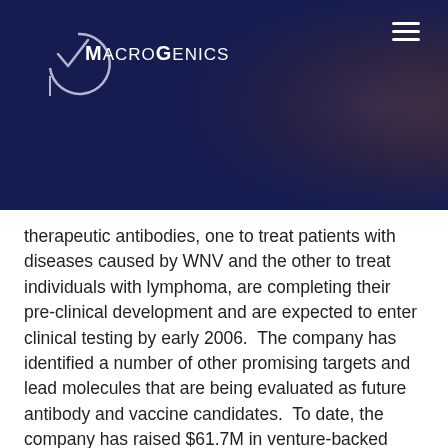[Figure (photo): MacroGenics logo and website header with dark navy blue background overlay and biological/cellular imagery on the right side]
therapeutic antibodies, one to treat patients with diseases caused by WNV and the other to treat individuals with lymphoma, are completing their pre-clinical development and are expected to enter clinical testing by early 2006.  The company has identified a number of other promising targets and lead molecules that are being evaluated as future antibody and vaccine candidates.  To date, the company has raised $61.7M in venture-backed financing.
About Investors
Alta Partners was founded in 1996 by four of the senior partners of Burr, Egan, Deleage & Co.